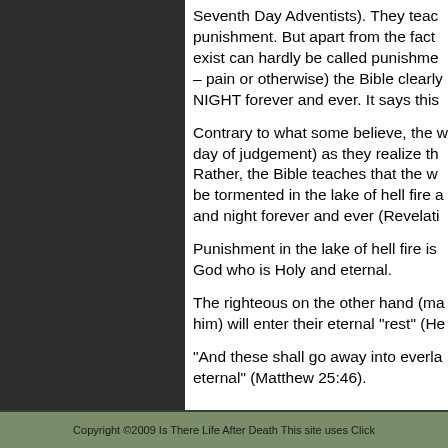Seventh Day Adventists). They teach punishment. But apart from the fact exist can hardly be called punishment – pain or otherwise) the Bible clearly NIGHT forever and ever. It says this
Contrary to what some believe, the wicked will not suddenly realize their fate (on the day of judgement) as they realize their condition. Rather, the Bible teaches that the wicked will be tormented in the lake of hell fire and night forever and ever (Revelation...
Punishment in the lake of hell fire is eternal because it is administered by a God who is Holy and eternal.
The righteous on the other hand (making a choice to follow him) will enter their eternal "rest" (He...
"And these shall go away into everlasting punishment: but the righteous into life eternal" (Matthew 25:46).
Copyright ©2009 Is There Life After Death This site uses Click...